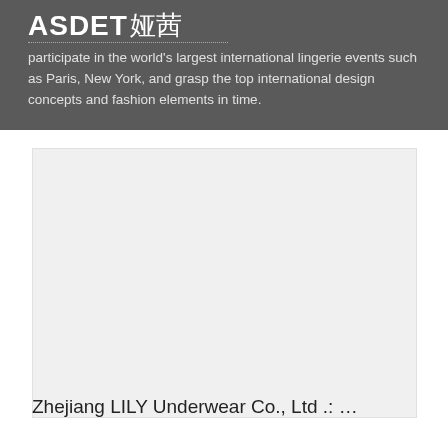ASDET 娅茜
participate in the world's largest international lingerie events such as Paris, New York, and grasp the top international design concepts and fashion elements in time.
[Figure (photo): Large light gray placeholder image area, blank/empty product or brand image]
Zhejiang LILY Underwear Co., Ltd .: ...